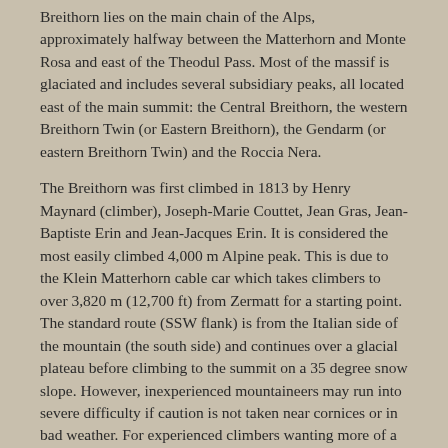Breithorn lies on the main chain of the Alps, approximately halfway between the Matterhorn and Monte Rosa and east of the Theodul Pass. Most of the massif is glaciated and includes several subsidiary peaks, all located east of the main summit: the Central Breithorn, the western Breithorn Twin (or Eastern Breithorn), the Gendarm (or eastern Breithorn Twin) and the Roccia Nera.
The Breithorn was first climbed in 1813 by Henry Maynard (climber), Joseph-Marie Couttet, Jean Gras, Jean-Baptiste Erin and Jean-Jacques Erin. It is considered the most easily climbed 4,000 m Alpine peak. This is due to the Klein Matterhorn cable car which takes climbers to over 3,820 m (12,700 ft) from Zermatt for a starting point. The standard route (SSW flank) is from the Italian side of the mountain (the south side) and continues over a glacial plateau before climbing to the summit on a 35 degree snow slope. However, inexperienced mountaineers may run into severe difficulty if caution is not taken near cornices or in bad weather. For experienced climbers wanting more of a challenge, the half traverse of the Breithorn crest is another option.